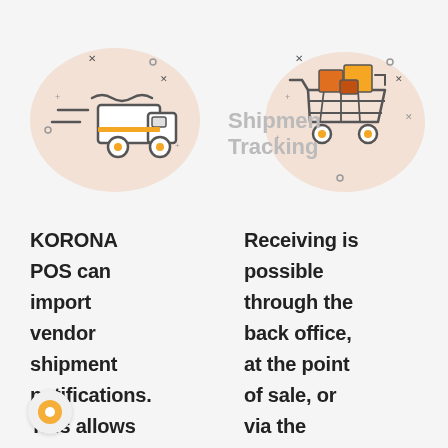[Figure (illustration): Delivery truck icon with speed lines on a peach/beige blob background, with small decorative plus signs, dots and cross marks around it]
[Figure (illustration): Shopping cart with boxes icon on a peach/beige blob background, with small decorative marks around it]
Shipment Tracking
KORONA POS can import vendor shipment notifications. This allows you to know
Receiving is possible through the back office, at the point of sale, or via the mobile app.